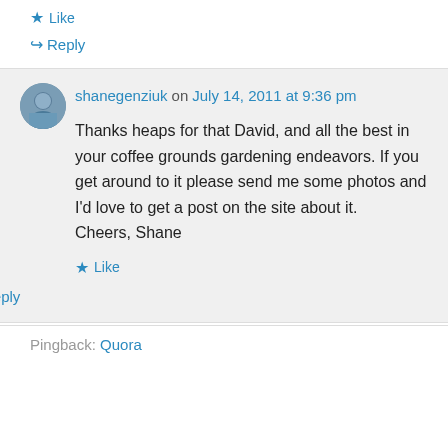★ Like
↪ Reply
shanegenziuk on July 14, 2011 at 9:36 pm
Thanks heaps for that David, and all the best in your coffee grounds gardening endeavors. If you get around to it please send me some photos and I'd love to get a post on the site about it.
Cheers, Shane
★ Like
↪ Reply
Pingback: Quora